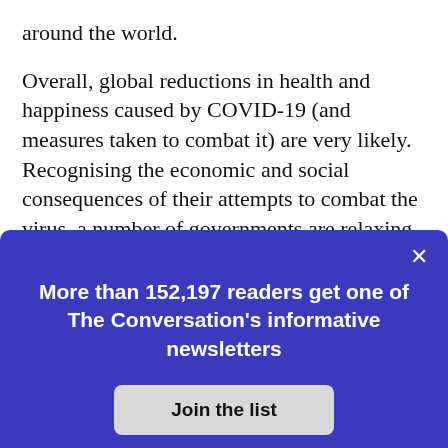around the world.
Overall, global reductions in health and happiness caused by COVID-19 (and measures taken to combat it) are very likely. Recognising the economic and social consequences of their attempts to combat the virus, a number of governments are relaxing stay-at-home rules and other social distancing measures.
More than 152,197 readers get one of The Conversation's informative newsletters
Join the list